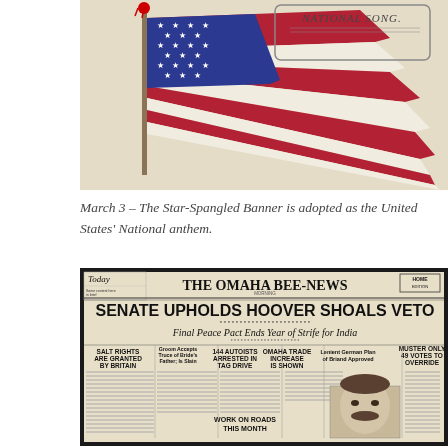[Figure (illustration): Illustration of the American flag (Star-Spangled Banner) waving, with text 'NATIONAL SONG' in decorative lettering at upper right. The flag shows red and white stripes and a blue canton with white stars.]
March 3 – The Star-Spangled Banner is adopted as the United States' National anthem.
[Figure (photo): Photograph of the front page of The Omaha Bee-News newspaper. The main headline reads 'SENATE UPHOLDS HOOVER SHOALS VETO'. Below are sub-headlines including 'Final Peace Pact Ends Year of Strife for India', 'SALT RIGHTS ARE GRANTED BY BRITAIN', '144 AUTOISTS ARRESTED IN TAG DRIVE', 'OMAHA TRADE INCREASE IS SHOWN', 'Lenient German Plan of Briand Approved', 'MUSTER ONLY 49 VOTES TO OVERRIDE', 'WORK ON ROADS THIS MONTH'. A 'Today' section appears top left and 'HOME EDITION' box top right. A portrait photo of a man with a mustache appears at bottom right of the front page.]